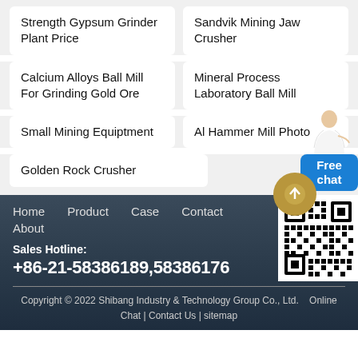Strength Gypsum Grinder Plant Price
Sandvik Mining Jaw Crusher
Calcium Alloys Ball Mill For Grinding Gold Ore
Mineral Process Laboratory Ball Mill
Small Mining Equiptment
Al Hammer Mill Photo
Golden Rock Crusher
Home   Product   Case   Contact   About
Sales Hotline:
+86-21-58386189,58386176
Copyright © 2022 Shibang Industry & Technology Group Co., Ltd.   Online Chat | Contact Us | sitemap